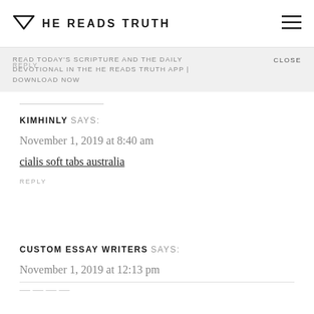HE READS TRUTH
READ TODAY'S SCRIPTURE AND THE DAILY DEVOTIONAL IN THE HE READS TRUTH APP | DOWNLOAD NOW   CLOSE
REPLY
KIMHINLY SAYS:
November 1, 2019 at 8:40 am
cialis soft tabs australia
REPLY
CUSTOM ESSAY WRITERS SAYS:
November 1, 2019 at 12:13 pm